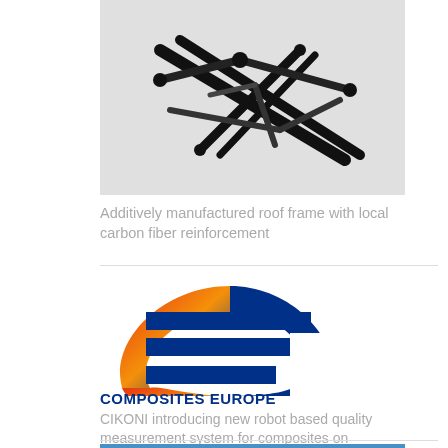[Figure (photo): Additively manufactured roof frame with local carbon fiber reinforcement — black lattice/frame structure on light background]
Additively manufactured roof frame with local carbon fiber reinforcement
[Figure (logo): COMPOSITES EUROPE logo — orange-red to blue gradient arc forming a C shape with blue horizontal bars]
COMPOSITES EUROPE
CIKONI introducing new robot based quality measurement system for composites on Composites Europe 2019
[Figure (photo): Partial photo at bottom, blue sky and structure visible]